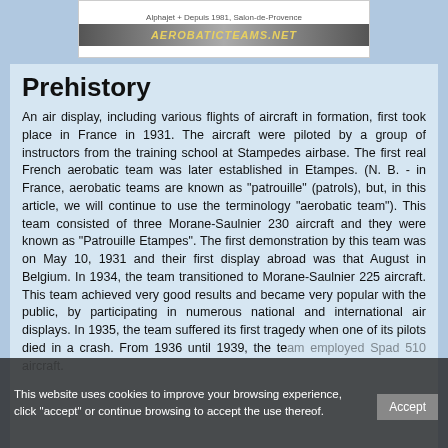[Figure (logo): Alphajets header image with 'Alphajet + Depuis 1981, Salon-de-Provence' text above a metallic grey banner reading 'AEROBATICTEAMS.NET' in gold italic letters]
Prehistory
An air display, including various flights of aircraft in formation, first took place in France in 1931. The aircraft were piloted by a group of instructors from the training school at Stampedes airbase. The first real French aerobatic team was later established in Etampes. (N. B. - in France, aerobatic teams are known as "patrouille" (patrols), but, in this article, we will continue to use the terminology "aerobatic team"). This team consisted of three Morane-Saulnier 230 aircraft and they were known as "Patrouille Etampes". The first demonstration by this team was on May 10, 1931 and their first display abroad was that August in Belgium. In 1934, the team transitioned to Morane-Saulnier 225 aircraft. This team achieved very good results and became very popular with the public, by participating in numerous national and international air displays. In 1935, the team suffered its first tragedy when one of its pilots died in a crash. From 1936 until 1939, the team employed Spad 510 aircraft.
This website uses cookies to improve your browsing experience, click "accept" or continue browsing to accept the use thereof.